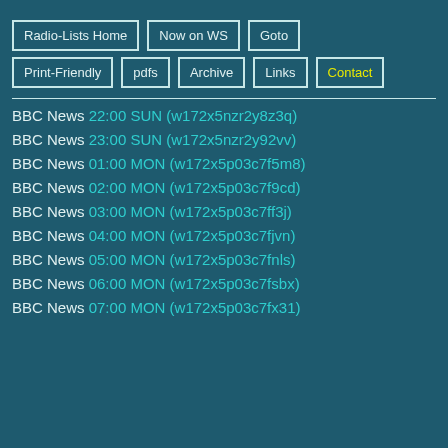Radio-Lists Home | Now on WS | Goto | Print-Friendly | pdfs | Archive | Links | Contact
BBC News 22:00 SUN (w172x5nzr2y8z3q)
BBC News 23:00 SUN (w172x5nzr2y92vv)
BBC News 01:00 MON (w172x5p03c7f5m8)
BBC News 02:00 MON (w172x5p03c7f9cd)
BBC News 03:00 MON (w172x5p03c7ff3j)
BBC News 04:00 MON (w172x5p03c7fjvn)
BBC News 05:00 MON (w172x5p03c7fnls)
BBC News 06:00 MON (w172x5p03c7fsbx)
BBC News 07:00 MON (w172x5p03c7fx31)